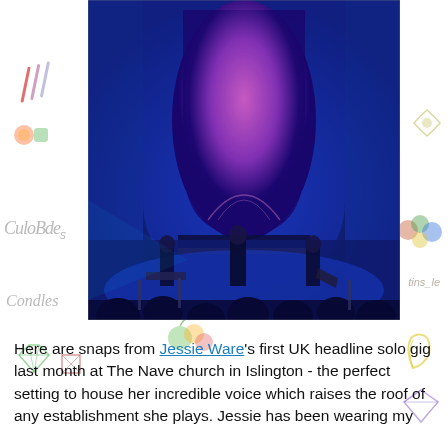[Figure (photo): Concert photo inside a church venue (The Nave, Islington) lit with blue and pink/magenta stage lighting. A large Gothic arch glows pink in the background. Three performers are visible on stage — one at a keyboard, one singer at center, one guitarist on the right. Audience silhouettes are visible in the foreground. Decorative illustrated doodles (candies, fruits, gems, leaves) appear around the photo as watermark-style decorations.]
Here are snaps from Jessie Ware's first UK headline solo gig last month at The Nave church in Islington - the perfect setting to house her incredible voice which raises the roof of any establishment she plays. Jessie has been wearing my